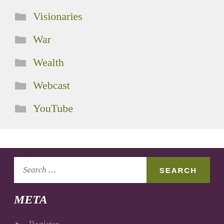Visionaries
War
Wealth
Webcast
YouTube
META
Register
Log in
Entries feed